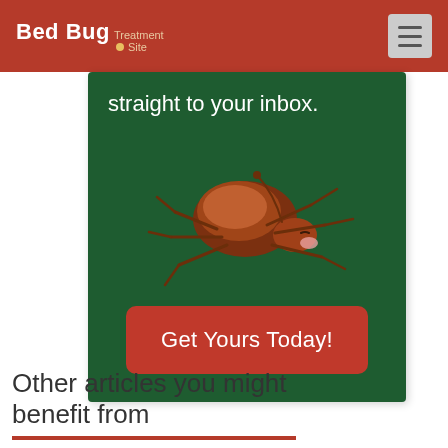Bed Bug Treatment Site
straight to your inbox.
[Figure (illustration): Cartoon illustration of a dead bed bug lying on its back with legs up, brown colored, on a dark green background]
Get Yours Today!
Other articles you might benefit from